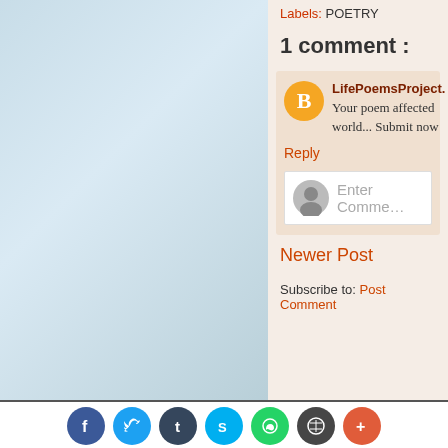[Figure (photo): Light blue-grey gradient background image on the left panel of the blog page]
Labels: POETRY
1 comment :
LifePoemsProject.
Your poem affected... world... Submit now
Reply
Enter Comment...
Newer Post
Subscribe to: Post Comment
[Figure (infographic): Social share buttons row: Facebook, Twitter, Tumblr, Skype, WhatsApp, WordPress, More (+)]